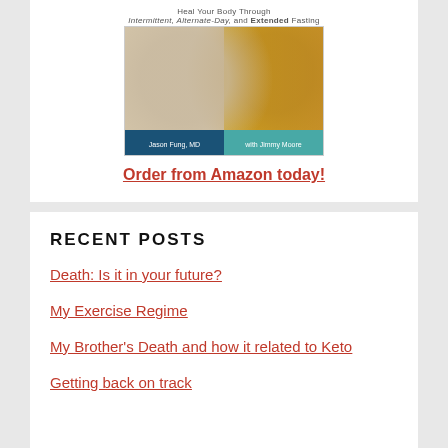[Figure (illustration): Book cover image for a fasting guide by Jason Fung, MD with Jimmy Moore. Shows text 'Heal Your Body Through Intermittent, Alternate-Day, and Extended Fasting' above a photo of beverages, with two author name bars at the bottom in navy and teal.]
Order from Amazon today!
RECENT POSTS
Death: Is it in your future?
My Exercise Regime
My Brother's Death and how it related to Keto
Getting back on track